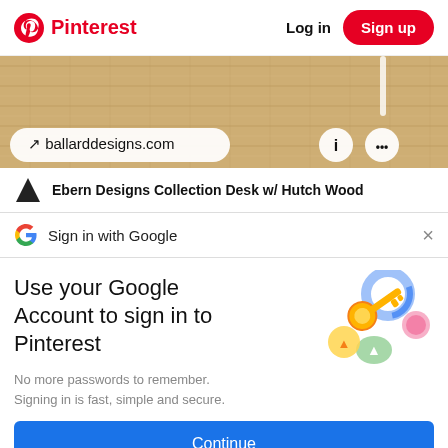[Figure (screenshot): Pinterest header with logo, Log in text, and red Sign up button]
[Figure (photo): Background texture of woven fabric/rug with ballarddesigns.com link pill and info/more buttons]
Ebern Designs Collection Desk w/ Hutch Wood
Sign in with Google
Use your Google Account to sign in to Pinterest
No more passwords to remember. Signing in is fast, simple and secure.
[Figure (illustration): Google key illustration with colorful circles/shields]
Continue